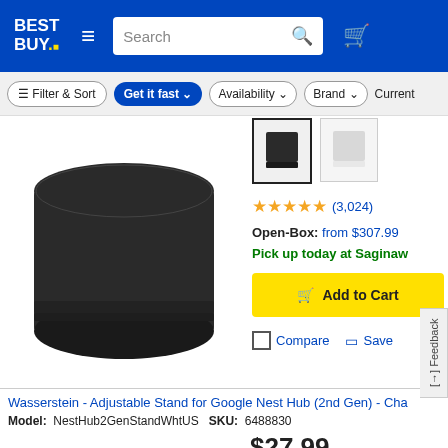BEST BUY
Filter & Sort  Get it fast  Availability  Brand  Current
[Figure (photo): Black cylindrical smart speaker product photo on white background]
[Figure (photo): Color swatch - black speaker selected]
[Figure (photo): Color swatch - white/gray speaker]
★★★★★ (3,024)
Open-Box: from $307.99
Pick up today at Saginaw
Add to Cart
Compare  Save
Wasserstein - Adjustable Stand for Google Nest Hub (2nd Gen) - Cha
Model: NestHub2GenStandWhtUS   SKU: 6488830
$27.99